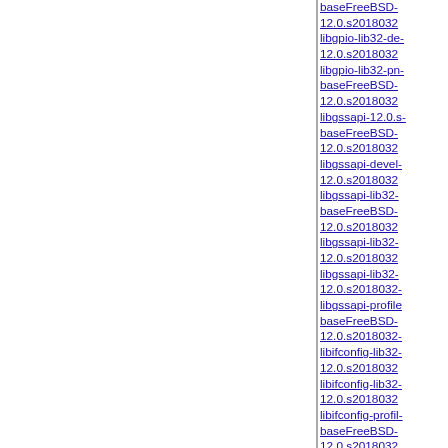baseFreeBSD-12.0.s2018032
libgpio-lib32-de-12.0.s2018032
libgpio-lib32-pn-baseFreeBSD-12.0.s2018032
libgssapi-12.0.s-baseFreeBSD-12.0.s2018032
libgssapi-devel-12.0.s2018032
libgssapi-lib32-baseFreeBSD-12.0.s2018032
libgssapi-lib32-12.0.s2018032
libgssapi-lib32-12.0.s2018032
libgssapi-profile-baseFreeBSD-12.0.s2018032
libifconfig-lib32-12.0.s2018032
libifconfig-lib32-12.0.s2018032
libifconfig-profil-baseFreeBSD-12.0.s2018032
libipsec-debug-baseFreeBSD-12.0.s2018032
libipsec-lib32-1-baseFreeBSD-12.0.s2018032
libipsec-lib32-d-12.0.s2018032
libipsec-lib32-p-12.0.s2018032
libipsec-profile-baseFreeBSD-